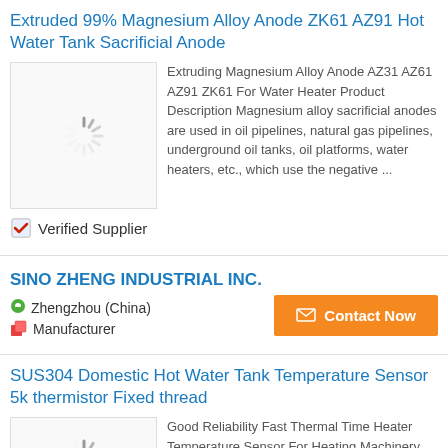Extruded 99% Magnesium Alloy Anode ZK61 AZ91 Hot Water Tank Sacrificial Anode
[Figure (photo): Product image placeholder with loading spinner]
Extruding Magnesium Alloy Anode AZ31 AZ61 AZ91 ZK61 For Water Heater Product Description Magnesium alloy sacrificial anodes are used in oil pipelines, natural gas pipelines, underground oil tanks, oil platforms, water heaters, etc., which use the negative ...
✓ Verified Supplier
SINO ZHENG INDUSTRIAL INC.
Zhengzhou (China)
Manufacturer
Contact Now
SUS304 Domestic Hot Water Tank Temperature Sensor 5k thermistor Fixed thread
[Figure (photo): Product image placeholder with loading spinner]
Good Reliability Fast Thermal Time Heater Temperature Sensor For Heating Machinery Feature Resistance 5 to 500KΩ Long-term stability ≤0.2%F.S/year Installation Fixed thread Storage temperature -20 ~ 80 °C Accuracy level 0.5%F.S Protection tube material ...